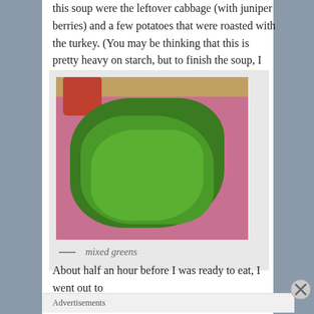this soup were the leftover cabbage (with juniper berries) and a few potatoes that were roasted with the turkey. (You may be thinking that this is pretty heavy on starch, but to finish the soup, I added some green stuff.)
[Figure (photo): A bunch of mixed greens (leafy vegetables) on a purple/pink cutting board, with a red ceramic mug visible in the background.]
— mixed greens
About half an hour before I was ready to eat, I went out to
Advertisements